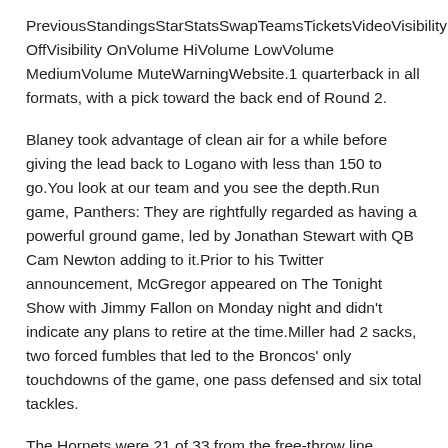PreviousStandingsStarStatsSwapTeamsTicketsVideoVisibility OffVisibility OnVolume HiVolume LowVolume MediumVolume MuteWarningWebsite.1 quarterback in all formats, with a pick toward the back end of Round 2.
Blaney took advantage of clean air for a while before giving the lead back to Logano with less than 150 to go.You look at our team and you see the depth.Run game, Panthers: They are rightfully regarded as having a powerful ground game, led by Jonathan Stewart with QB Cam Newton adding to it.Prior to his Twitter announcement, McGregor appeared on The Tonight Show with Jimmy Fallon on Monday night and didn't indicate any plans to retire at the time.Miller had 2 sacks, two forced fumbles that led to the Broncos' only touchdowns of the game, one pass defensed and six total tackles.
The Hornets were 21 of 33 from the free-throw line compared to JSU's 18 attempts.The sophomore forward has driven offense on the third line despite a lack of depth scoring early in the season, even as his linemates have shifted with injuries.